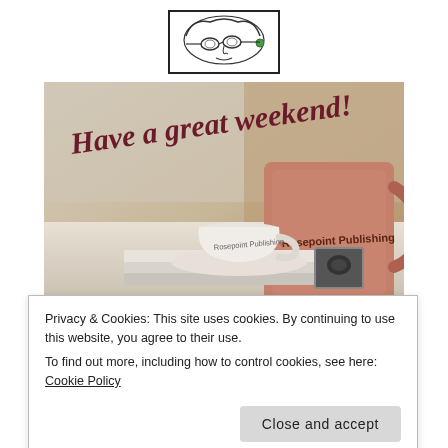[Figure (logo): Rosepoint Publishing logo: illustrated face with glasses in a rectangular border]
[Figure (photo): Photo of two coffee mugs branded 'Rosepoint Publishing' on stacked books, with cursive text 'Have a great weekend!' overlaid in dark red]
Privacy & Cookies: This site uses cookies. By continuing to use this website, you agree to their use.
To find out more, including how to control cookies, see here: Cookie Policy
Close and accept
Share this: